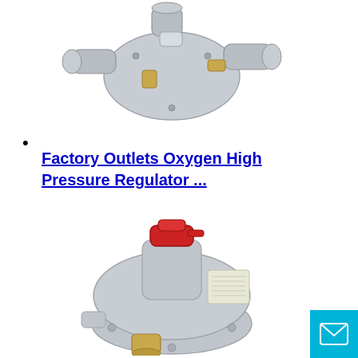[Figure (photo): Photo of a gas pressure regulator device, grey/silver colored with brass fittings and multiple pipe connections, viewed from an angle]
Factory Outlets Oxygen High Pressure Regulator ...
[Figure (photo): Photo of a gas pressure regulator with a red cap on top, silver/grey body with a label plate on the side and brass fittings at the bottom]